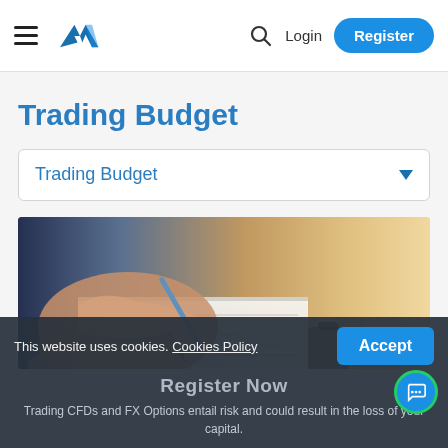AVA | Login | Register
Trading Budget
Trading Budget (dropdown)
[Figure (photo): Close-up of hands writing in a notebook with a pen, warm golden-toned background suggesting natural light]
This website uses cookies. Cookies Policy  [Accept button]
Register Now
Trading CFDs and FX Options entail risk and could result in the loss of your capital.